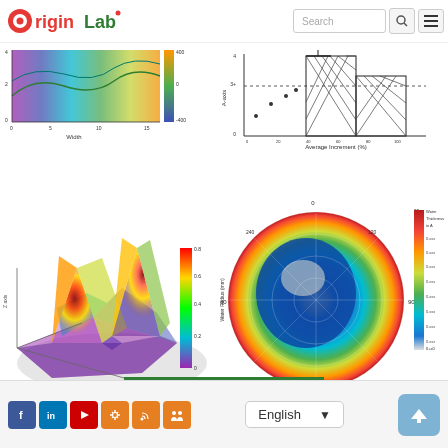[Figure (logo): OriginLab logo with red and green text]
[Figure (screenshot): Search bar with search button and hamburger menu]
[Figure (continuous-plot): 2D color contour/surface plot with rainbow colormap, x-axis labeled Width, colorbar on right]
[Figure (histogram): Box plot / histogram with hatched bars, y-axis labeled A-axis, x-axis labeled Average Increment (%), dotted horizontal line]
[Figure (continuous-plot): 3D surface plot with two peaks, rainbow colormap colorbar on right, axes labeled]
[Figure (continuous-plot): Polar/circular contour map labeled Notch on x-axis, Water Radius (mm) on y-axis, Water Thickness colorbar, rainbow colormap from blue to red]
[Figure (other): Footer with social media icons (Facebook, LinkedIn, YouTube, gear, RSS, group), English language selector dropdown, scroll-to-top button]